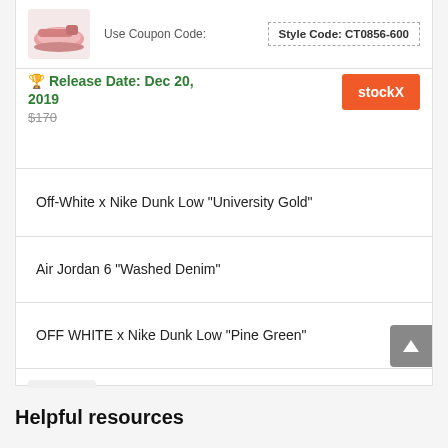Use Coupon Code:
Style Code: CT0856-600
🏆 Release Date: Dec 20, 2019
$170
stockX
Off-White x Nike Dunk Low "University Gold"
Air Jordan 6 "Washed Denim"
OFF WHITE x Nike Dunk Low "Pine Green"
Air Jordan 12 White Grey
Helpful resources